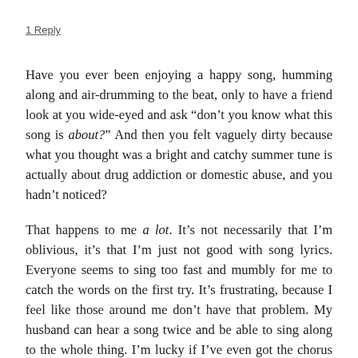1 Reply
Have you ever been enjoying a happy song, humming along and air-drumming to the beat, only to have a friend look at you wide-eyed and ask “don’t you know what this song is about?” And then you felt vaguely dirty because what you thought was a bright and catchy summer tune is actually about drug addiction or domestic abuse, and you hadn’t noticed?
That happens to me a lot. It’s not necessarily that I’m oblivious, it’s that I’m just not good with song lyrics. Everyone seems to sing too fast and mumbly for me to catch the words on the first try. It’s frustrating, because I feel like those around me don’t have that problem. My husband can hear a song twice and be able to sing along to the whole thing. I’m lucky if I’ve even got the chorus straight by that point. He’s much more musically inclined than me, so maybe that’s a